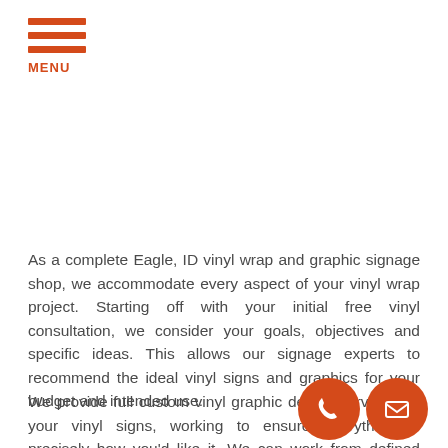[Figure (logo): Orange hamburger menu icon with three horizontal bars and MENU label below]
As a complete Eagle, ID vinyl wrap and graphic signage shop, we accommodate every aspect of your vinyl wrap project. Starting off with your initial free vinyl consultation, we consider your goals, objectives and specific ideas. This allows our signage experts to recommend the ideal vinyl signs and graphics for your budget and intended use.
We provide full custom vinyl graphic design services for your vinyl signs, working to ensure everything is precisely how you'd like it. We can work from defined brand guidelines or can start from conceptualization if you do not have a definite design defined. Once you have authorized
[Figure (illustration): Two overlapping circular orange icons at bottom right: a phone handset icon and an envelope/email icon]